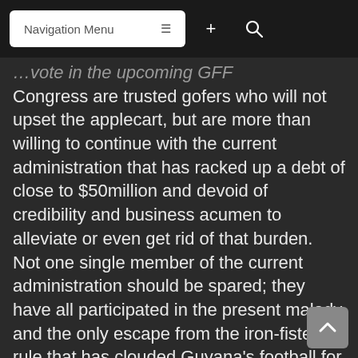Navigation Menu
…vote in the upcoming GFF Congress are trusted gofers who will not upset the applecart, but are more than willing to continue with the current administration that has racked up a debt of close to $50million and devoid of credibility and business acumen to alleviate or even get rid of that burden. Not one single member of the current administration should be spared; they have all participated in the present malady and the only escape from the iron-fisted rule that has clouded Guyana's football for over two decades is to vote them out of power.